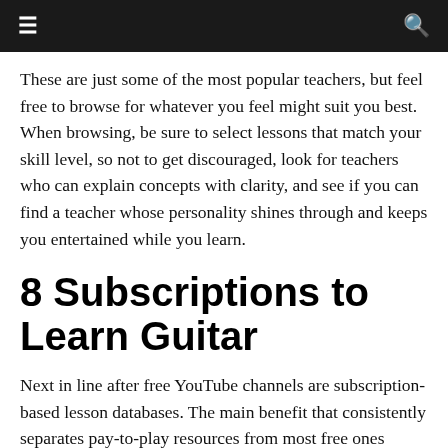≡  🔍
These are just some of the most popular teachers, but feel free to browse for whatever you feel might suit you best. When browsing, be sure to select lessons that match your skill level, so not to get discouraged, look for teachers who can explain concepts with clarity, and see if you can find a teacher whose personality shines through and keeps you entertained while you learn.
8 Subscriptions to Learn Guitar
Next in line after free YouTube channels are subscription-based lesson databases. The main benefit that consistently separates pay-to-play resources from most free ones (aside from sites like JustinGuitar) are their myriad structured